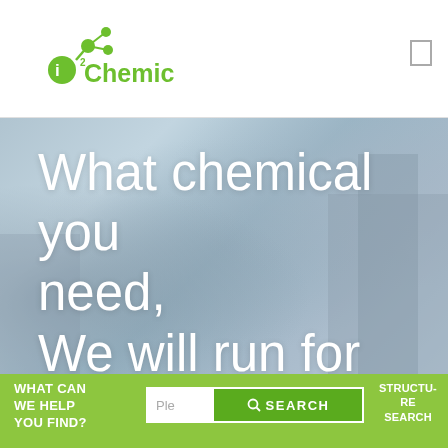[Figure (logo): i2Chemical logo with green molecular structure icon and green text reading i2Chemical with a period]
[Figure (photo): Blurred cityscape background with large white text overlay reading: What chemical you need, We will run for you.]
What chemical you need, We will run for you.
WHAT CAN WE HELP YOU FIND?
Ple
SEARCH
STRUCTURE SEARCH
API
OLED
Catalyst
Biomolecular
Chiral Compound